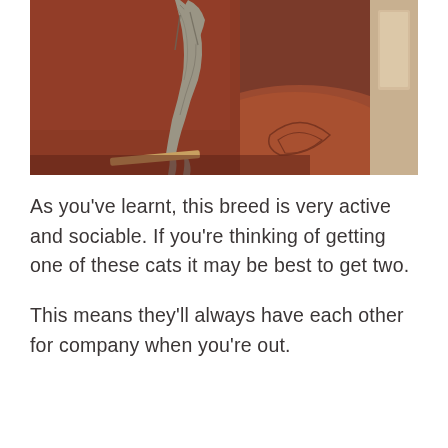[Figure (photo): A cat climbing or perched on the arm of a brown leather sofa/armchair, near a door.]
As you've learnt, this breed is very active and sociable. If you're thinking of getting one of these cats it may be best to get two.
This means they'll always have each other for company when you're out.